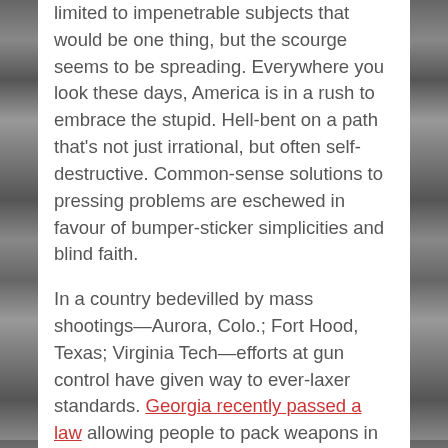limited to impenetrable subjects that would be one thing, but the scourge seems to be spreading. Everywhere you look these days, America is in a rush to embrace the stupid. Hell-bent on a path that's not just irrational, but often self-destructive. Common-sense solutions to pressing problems are eschewed in favour of bumper-sticker simplicities and blind faith.
In a country bedevilled by mass shootings—Aurora, Colo.; Fort Hood, Texas; Virginia Tech—efforts at gun control have given way to ever-laxer standards. Georgia recently passed a law allowing people to pack weapons in